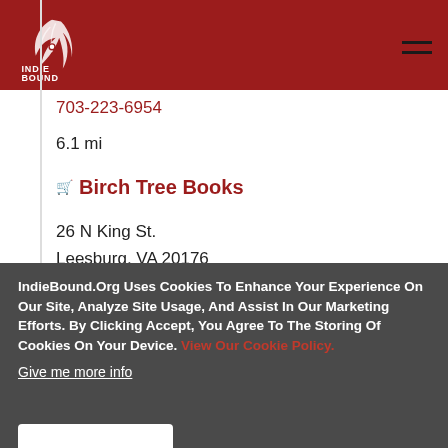IndieBound logo and navigation header
703-223-6954
6.1 mi
Birch Tree Books
26 N King St.
Leesburg, VA 20176
571-207-5238
6.2 mi
IndieBound.Org Uses Cookies To Enhance Your Experience On Our Site, Analyze Site Usage, And Assist In Our Marketing Efforts. By Clicking Accept, You Agree To The Storing Of Cookies On Your Device. View Our Cookie Policy.
Give me more info